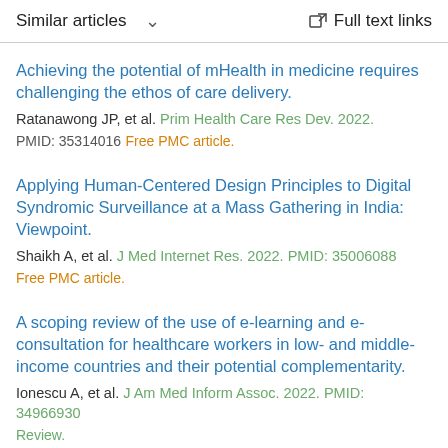Similar articles  ∨   Full text links
Achieving the potential of mHealth in medicine requires challenging the ethos of care delivery.
Ratanawong JP, et al. Prim Health Care Res Dev. 2022.
PMID: 35314016 Free PMC article.
Applying Human-Centered Design Principles to Digital Syndromic Surveillance at a Mass Gathering in India: Viewpoint.
Shaikh A, et al. J Med Internet Res. 2022. PMID: 35006088
Free PMC article.
A scoping review of the use of e-learning and e-consultation for healthcare workers in low- and middle-income countries and their potential complementarity.
Ionescu A, et al. J Am Med Inform Assoc. 2022. PMID: 34966930
Review.